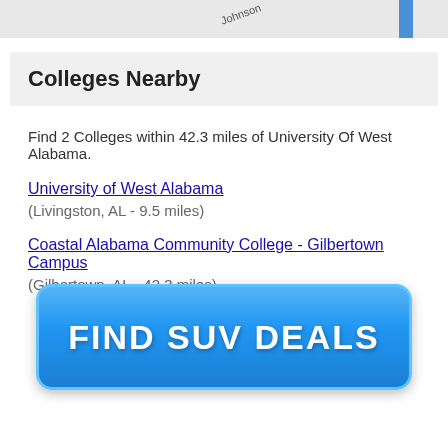[Figure (map): Partial map strip showing road label 'Johnson' and a blue vertical bar on the right side]
Colleges Nearby
Find 2 Colleges within 42.3 miles of University Of West Alabama.
University of West Alabama (Livingston, AL - 9.5 miles)
Coastal Alabama Community College - Gilbertown Campus (Gilbertown, AL - 42.3 miles)
[Figure (infographic): Blue button advertisement reading FIND SUV DEALS]